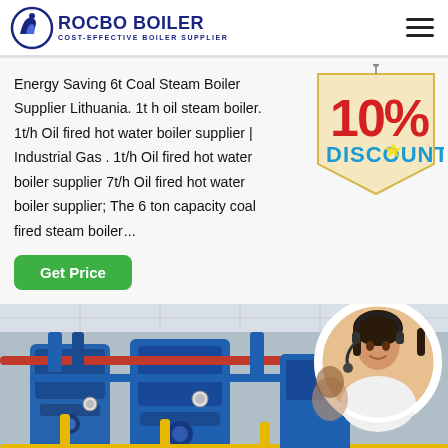ROCBO BOILER - COST-EFFECTIVE BOILER SUPPLIER
Energy Saving 6t Coal Steam Boiler Supplier Lithuania. 1t h oil steam boiler. 1t/h Oil fired hot water boiler supplier | Industrial Gas . 1t/h Oil fired hot water boiler supplier 7t/h Oil fired hot water boiler supplier; The 6 ton capacity coal fired steam boile...
[Figure (infographic): 10% DISCOUNT badge/tag graphic]
[Figure (photo): Industrial boiler room with blue pipework, red horizontal pipe, yellow gas pipes, and a circular inset photo of a female customer service agent wearing a headset]